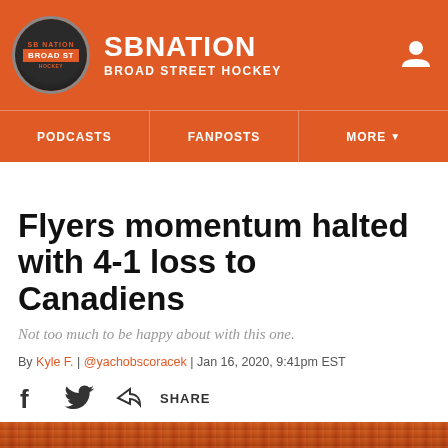SB NATION | BROAD STREET HOCKEY
PODCASTS | FANPOSTS | MORE
Flyers momentum halted with 4-1 loss to Canadiens
Not too much to be happy about with this one.
By Kyle F. | @yachobscoracek | Jan 16, 2020, 9:41pm EST
[Figure (other): Share icons: Facebook, Twitter, and share button]
[Figure (photo): Crowd photo at hockey arena, orange-clad fans visible]